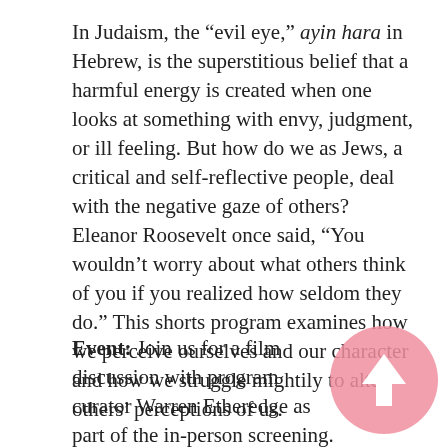In Judaism, the “evil eye,” ayin hara in Hebrew, is the superstitious belief that a harmful energy is created when one looks at something with envy, judgment, or ill feeling. But how do we as Jews, a critical and self-reflective people, deal with the negative gaze of others? Eleanor Roosevelt once said, “You wouldn’t worry about what others think of you if you realized how seldom they do.” This shorts program examines how we perceive ourselves and our character and how we struggle mightily to alter others’ perceptions of us.
Event: Join us for a film discussion with program curator Warren Etheredge as part of the in-person screening. FREE for current UW students.